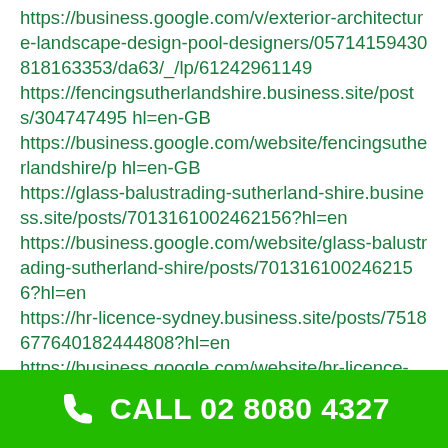https://business.google.com/v/exterior-architecture-landscape-design-pool-designers/05714159430818163353/da63/_/lp/61242961149
https://fencingsutherlandshire.business.site/posts/304747495 hl=en-GB
https://business.google.com/website/fencingsutherlandshire/p hl=en-GB
https://glass-balustrading-sutherland-shire.business.site/posts/7013161002462156?hl=en
https://business.google.com/website/glass-balustrading-sutherland-shire/posts/7013161002462156?hl=en
https://hr-licence-sydney.business.site/posts/7518677640182444808?hl=en
https://business.google.com/website/hr-licence-
CALL 02 8080 4327